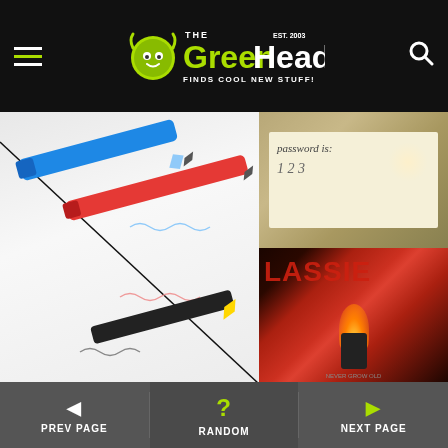The Green Head - Finds Cool New Stuff!
[Figure (photo): Left: Blue and red elemental ink pens on white paper with ink trails. Right top: handwritten note on paper showing password. Right bottom: lighter flame near book with red text CLASSIC.]
Pens
Elemental Ink Pens: Writings
PREV PAGE | RANDOM | NEXT PAGE